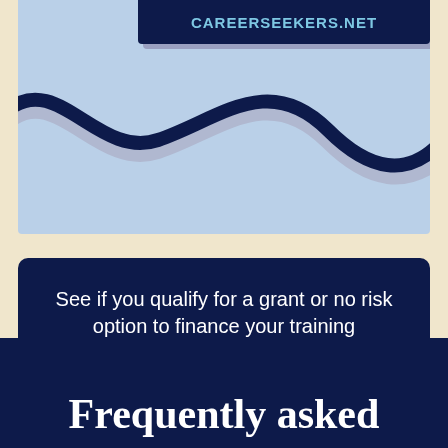[Figure (illustration): Light blue background with dark navy wavy line and its shadow undulating across the image. A dark navy banner at the top center shows the text CAREERSEEKERS.NET in teal/cyan letters.]
See if you qualify for a grant or no risk option to finance your training
Frequently asked